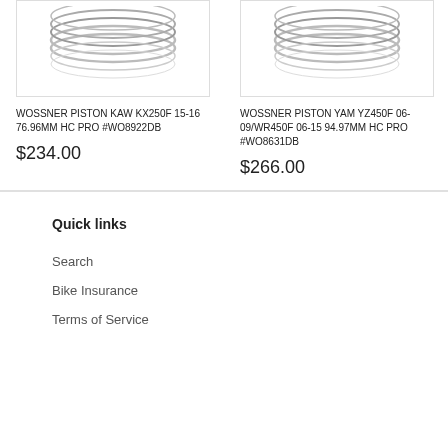[Figure (photo): Piston rings product image for WOSSNER PISTON KAW KX250F]
[Figure (photo): Piston rings product image for WOSSNER PISTON YAM YZ450F]
WOSSNER PISTON KAW KX250F 15-16 76.96MM HC PRO #WO8922DB
$234.00
WOSSNER PISTON YAM YZ450F 06-09/WR450F 06-15 94.97MM HC PRO #WO8631DB
$266.00
Quick links
Search
Bike Insurance
Terms of Service